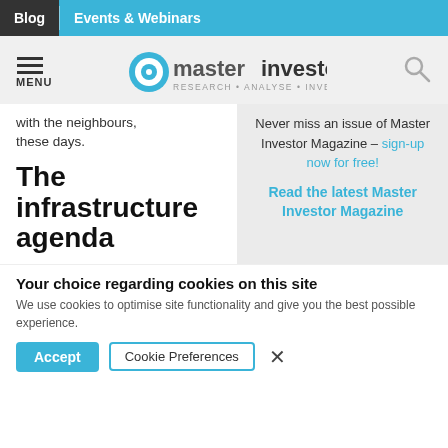Blog | Events & Webinars
[Figure (logo): Master Investor logo with target icon, tagline: RESEARCH · ANALYSE · INVEST]
with the neighbours, these days.
The infrastructure agenda
Never miss an issue of Master Investor Magazine – sign-up now for free!
Read the latest Master Investor Magazine
Your choice regarding cookies on this site
We use cookies to optimise site functionality and give you the best possible experience.